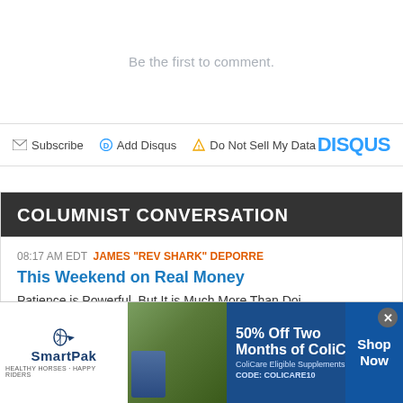Be the first to comment.
✉ Subscribe  D Add Disqus  ⚠ Do Not Sell My Data    DISQUS
COLUMNIST CONVERSATION
08:17 AM EDT  JAMES "REV SHARK" DEPORRE
This Weekend on Real Money
Patience is Powerful, But It is Much More Than Doi
[Figure (photo): SmartPak advertisement banner showing a horse and rider with '50% Off Two Months of ColiCare' promotional offer, CODE: COLICARE10]